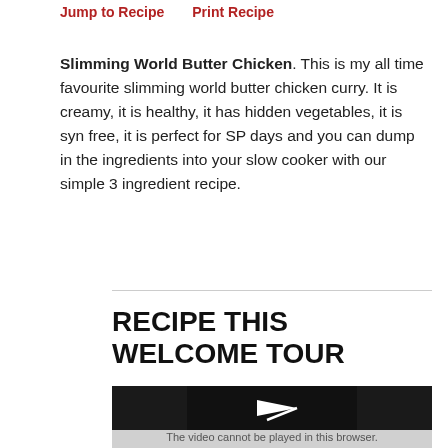Jump to Recipe   Print Recipe
Slimming World Butter Chicken. This is my all time favourite slimming world butter chicken curry. It is creamy, it is healthy, it has hidden vegetables, it is syn free, it is perfect for SP days and you can dump in the ingredients into your slow cooker with our simple 3 ingredient recipe.
RECIPE THIS WELCOME TOUR
[Figure (screenshot): A video player showing a play button icon on a dark background, with a grey bar below reading 'The video cannot be played in this browser.']